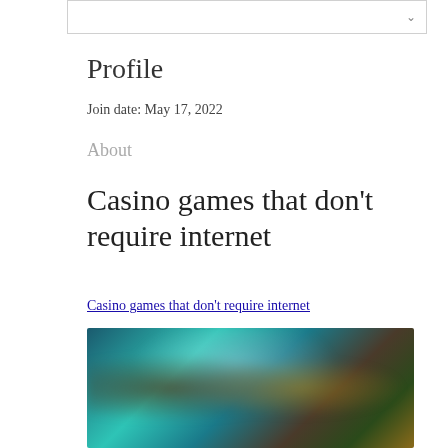Profile
Join date: May 17, 2022
About
Casino games that don't require internet
Casino games that don't require internet
[Figure (photo): Blurred screenshot of casino games with characters visible, teal/green color scheme]